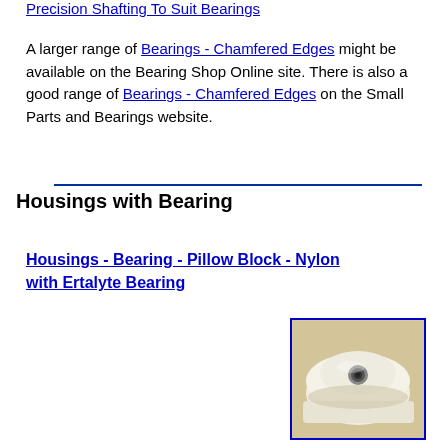Precision Shafting To Suit Bearings
A larger range of Bearings - Chamfered Edges might be available on the Bearing Shop Online site. There is also a good range of Bearings - Chamfered Edges on the Small Parts and Bearings website.
Housings with Bearing
Housings - Bearing - Pillow Block - Nylon with Ertalyte Bearing
[Figure (photo): Photo of a white nylon pillow block bearing housing with an Ertalyte bearing insert, shown against a light background with a blue border frame.]